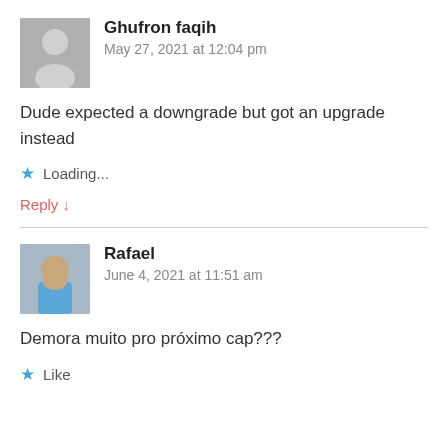[Figure (illustration): Gray placeholder avatar icon for user Ghufron faqih]
Ghufron faqih
May 27, 2021 at 12:04 pm
Dude expected a downgrade but got an upgrade instead
Loading...
Reply ↓
[Figure (photo): Photo of Rafael, a young person in a blue shirt]
Rafael
June 4, 2021 at 11:51 am
Demora muito pro próximo cap???
Like